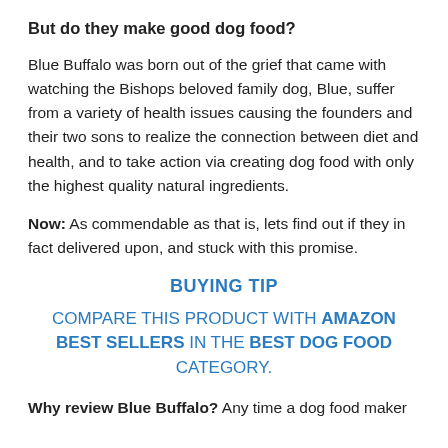But do they make good dog food?
Blue Buffalo was born out of the grief that came with watching the Bishops beloved family dog, Blue, suffer from a variety of health issues causing the founders and their two sons to realize the connection between diet and health, and to take action via creating dog food with only the highest quality natural ingredients.
Now: As commendable as that is, lets find out if they in fact delivered upon, and stuck with this promise.
BUYING TIP
COMPARE THIS PRODUCT WITH AMAZON BEST SELLERS IN THE BEST DOG FOOD CATEGORY.
Why review Blue Buffalo? Any time a dog food maker